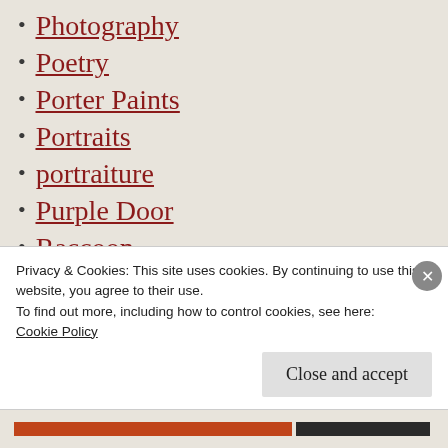Photography
Poetry
Porter Paints
Portraits
portraiture
Purple Door
Raccoon
Raleigh
Raleigh NC
Reidsville nc
Reidsville North Carolina
Privacy & Cookies: This site uses cookies. By continuing to use this website, you agree to their use.
To find out more, including how to control cookies, see here:
Cookie Policy
Close and accept